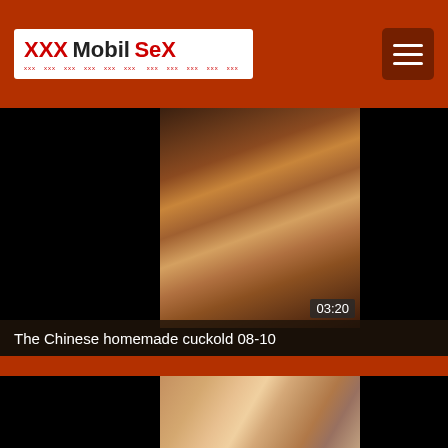XXX Mobil SeX
[Figure (screenshot): Video thumbnail for 'The Chinese homemade cuckold 08-10' showing blurry indoor scene, duration 03:20]
The Chinese homemade cuckold 08-10
[Figure (screenshot): Video thumbnail showing a woman on a bed]